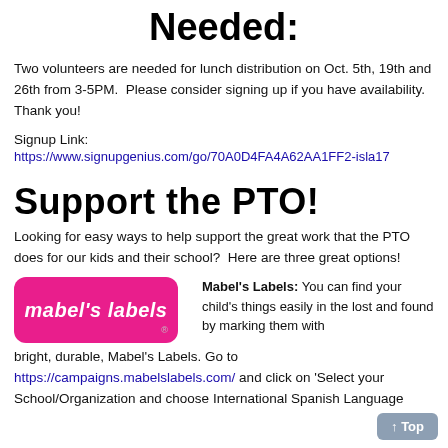Needed:
Two volunteers are needed for lunch distribution on Oct. 5th, 19th and 26th from 3-5PM.  Please consider signing up if you have availability.   Thank you!
Signup Link:
https://www.signupgenius.com/go/70A0D4FA4A62AA1FF2-isla17
Support the PTO!
Looking for easy ways to help support the great work that the PTO does for our kids and their school?  Here are three great options!
[Figure (logo): Mabel's Labels logo — pink rounded rectangle with white cursive text 'mabel's labels']
Mabel's Labels: You can find your child's things easily in the lost and found by marking them with bright, durable, Mabel's Labels. Go to https://campaigns.mabelslabels.com/ and click on 'Select your School/Organization and choose International Spanish Language